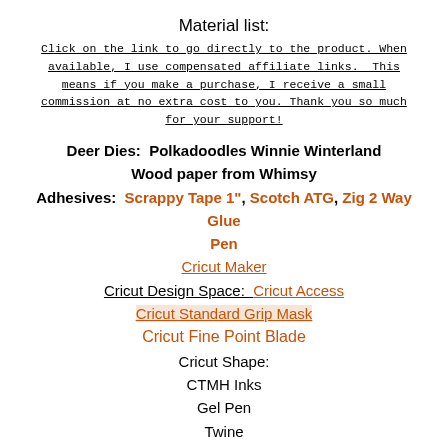Material list:
Click on the link to go directly to the product. When available, I use compensated affiliate links. This means if you make a purchase, I receive a small commission at no extra cost to you. Thank you so much for your support!
Deer Dies:  Polkadoodles Winnie Winterland
Wood paper from Whimsy
Adhesives:  Scrappy Tape 1", Scotch ATG, Zig 2 Way Glue Pen
Cricut Maker
Cricut Design Space:  Cricut Access
Cricut Standard Grip Mask
Cricut Fine Point Blade
Cricut Shape:
CTMH Inks
Gel Pen
Twine